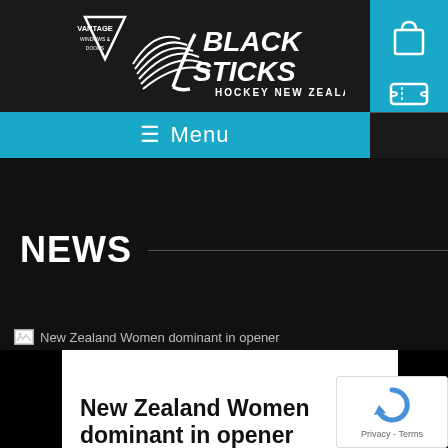[Figure (logo): Vantage Windows & Doors and Black Sticks Hockey New Zealand logo on dark header]
[Figure (illustration): Shopping bag icon and ticket icon on teal panel]
≡  Menu
NEWS
[Figure (photo): Broken image placeholder: New Zealand Women dominant in opener]
New Zealand Women dominant in opener
[Figure (other): Google reCAPTCHA widget with Privacy - Terms text]